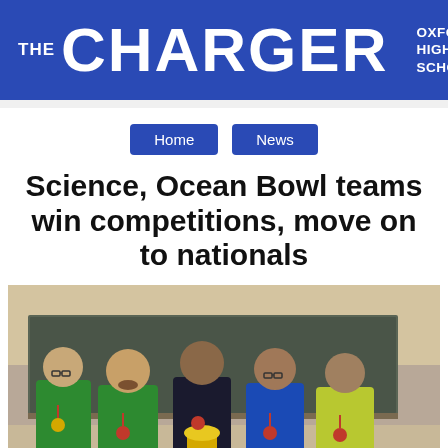THE CHARGER | OXFORD HIGH SCHOOL
Home
News
Science, Ocean Bowl teams win competitions, move on to nationals
[Figure (photo): Five male students standing in front of a chalkboard, wearing medals and holding a trophy cup. They appear to be the Science/Ocean Bowl team.]